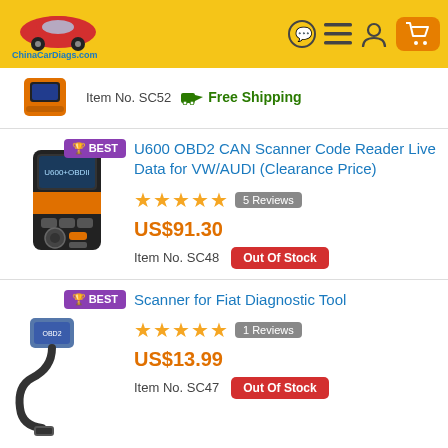[Figure (logo): ChinaCarDiags.com logo with red car icon on yellow header background]
Item No. SC52   Free Shipping
U600 OBD2 CAN Scanner Code Reader Live Data for VW/AUDI (Clearance Price)
★★★★★ 5 Reviews
US$91.30
Item No. SC48   Out Of Stock
Scanner for Fiat Diagnostic Tool
★★★★★ 1 Reviews
US$13.99
Item No. SC47   Out Of Stock